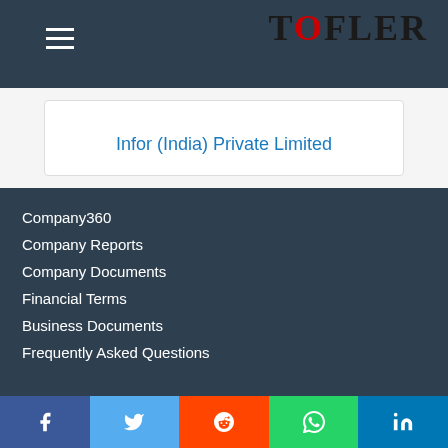TOFLER
Infor (India) Private Limited
Company360
Company Reports
Company Documents
Financial Terms
Business Documents
Frequently Asked Questions
Facebook | Twitter | Reddit | WhatsApp | LinkedIn